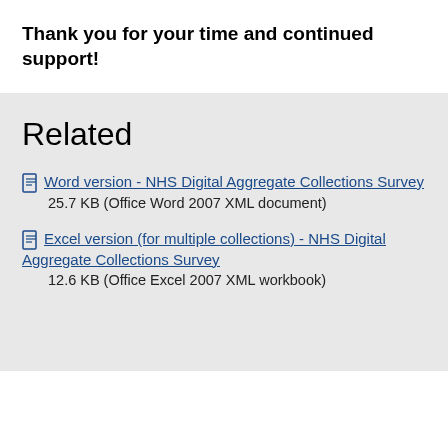Thank you for your time and continued support!
Related
Word version - NHS Digital Aggregate Collections Survey
25.7 KB (Office Word 2007 XML document)
Excel version (for multiple collections) - NHS Digital Aggregate Collections Survey
12.6 KB (Office Excel 2007 XML workbook)